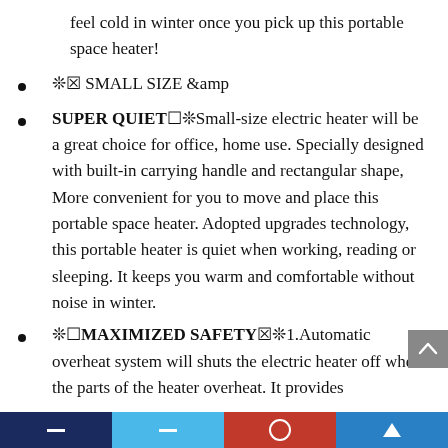feel cold in winter once you pick up this portable space heater!
✳️ SMALL SIZE &amp
SUPER QUIET✳Small-size electric heater will be a great choice for office, home use. Specially designed with built-in carrying handle and rectangular shape, More convenient for you to move and place this portable space heater. Adopted upgrades technology, this portable heater is quiet when working, reading or sleeping. It keeps you warm and comfortable without noise in winter.
✳MAXIMIZED SAFETY✳1.Automatic overheat system will shuts the electric heater off when the parts of the heater overheat. It provides